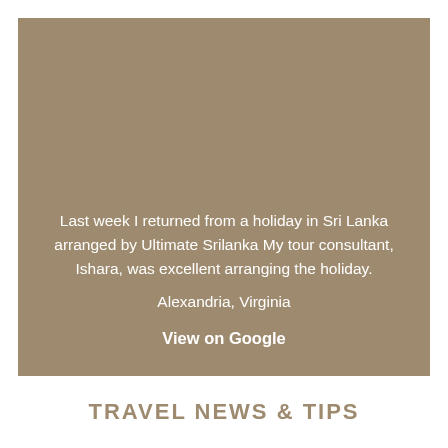Last week I returned from a holiday in Sri Lanka arranged by Ultimate Srilanka My tour consultant, Ishara, was excellent arranging the holiday.
Alexandria, Virginia
View on Google
TRAVEL NEWS & TIPS